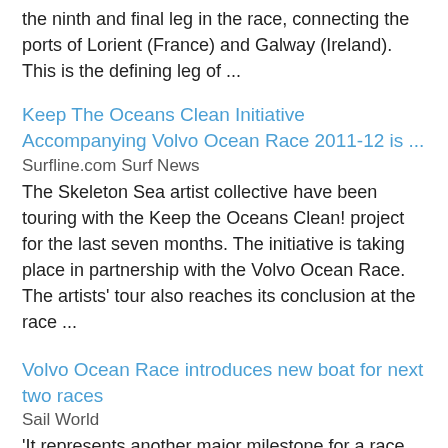the ninth and final leg in the race, connecting the ports of Lorient (France) and Galway (Ireland). This is the defining leg of ...
Keep The Oceans Clean Initiative Accompanying Volvo Ocean Race 2011-12 is ...
Surfline.com Surf News
The Skeleton Sea artist collective have been touring with the Keep the Oceans Clean! project for the last seven months. The initiative is taking place in partnership with theVolvo Ocean Race. The artists' tour also reaches its conclusion at the race ...
Volvo Ocean Race introduces new boat for next two races
Sail World
'It represents another major milestone for a race that has never been afraid to move forward in our 39-year history. This move to a one-design gives us an enormous head start in our planning for the next two races and puts the Volvo Ocean Race in even ...
[Figure (photo): Small image thumbnail placeholder icon]